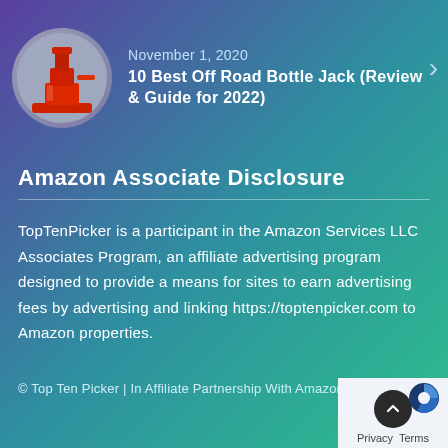[Figure (illustration): Circular thumbnail image of a red bottle/hydraulic jack on a grey background, positioned on the left side of the article card]
November 1, 2020
10 Best Off Road Bottle Jack (Review & Guide for 2022)
Amazon Associate Disclosure
TopTenPicker is a participant in the Amazon Services LLC Associates Program, an affiliate advertising program designed to provide a means for sites to earn advertising fees by advertising and linking https://toptenpicker.com to Amazon properties.
© Top Ten Picker | In Affiliate Partnership With Amazon
[Figure (logo): Small pie-chart style logo icon (blue and dark) in the bottom right widget area, with a dark circular scroll-to-top button with upward arrow, and Privacy / Terms text links]